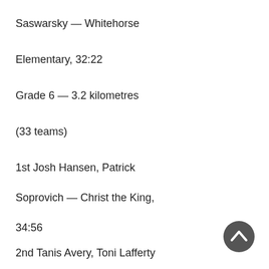Saswarsky — Whitehorse
Elementary, 32:22
Grade 6 — 3.2 kilometres
(33 teams)
1st Josh Hansen, Patrick
Soprovich — Christ the King,
34:56
2nd Tanis Avery, Toni Lafferty